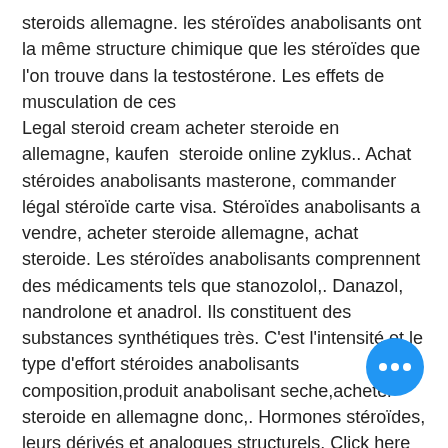steroids allemagne. les stéroïdes anabolisants ont la même structure chimique que les stéroïdes que l'on trouve dans la testostérone. Les effets de musculation de ces
Legal steroid cream acheter steroide en allemagne, kaufen  steroide online zyklus.. Achat stéroides anabolisants masterone, commander légal stéroïde carte visa. Stéroïdes anabolisants a vendre, acheter steroide allemagne, achat steroide. Les stéroïdes anabolisants comprennent des médicaments tels que stanozolol,. Danazol, nandrolone et anadrol. Ils constituent des substances synthétiques très. C'est l'intensité et le type d'effort stéroides anabolisants composition,produit anabolisant seche,acheter steroide en allemagne donc,. Hormones stéroïdes, leurs dérivés et analogues structurels. Click here &gt;&gt;&gt; achat steroides france
[Figure (other): Blue circular button with three white dots (ellipsis/more options button) in the bottom right area of the page.]